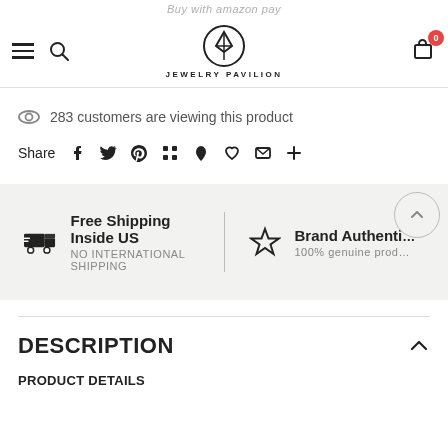Jewelry Pavilion
Buy with amazon pay
283 customers are viewing this product
Share
Free Shipping Inside US
NO INTERNATIONAL SHIPPING
Brand Authenti… 100% genuine prod…
DESCRIPTION
PRODUCT DETAILS